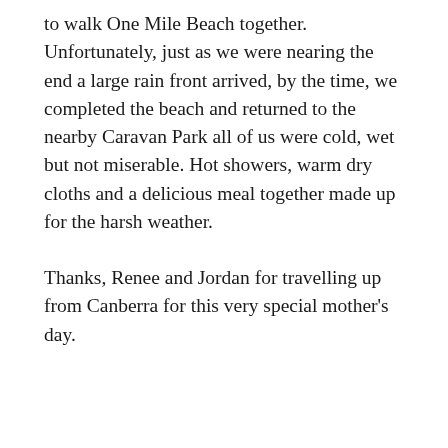to walk One Mile Beach together. Unfortunately, just as we were nearing the end a large rain front arrived, by the time, we completed the beach and returned to the nearby Caravan Park all of us were cold, wet but not miserable. Hot showers, warm dry cloths and a delicious meal together made up for the harsh weather.
Thanks, Renee and Jordan for travelling up from Canberra for this very special mother's day.